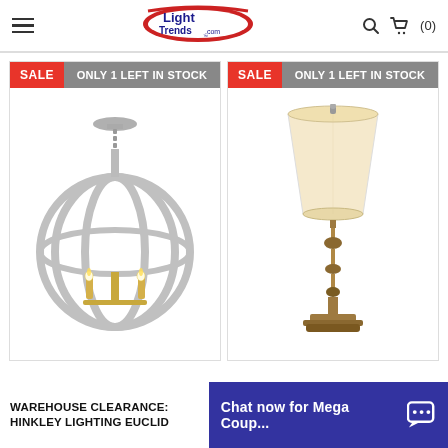LightTrends.com
[Figure (photo): Hinkley Lighting Euclid globe pendant chandelier in silver/gold finish with candelabra bulbs, sphere-shaped metal frame, shown against white background. Badge: SALE | ONLY 1 LEFT IN STOCK]
[Figure (photo): Table lamp with cream/beige bell-shaped shade and ornate antique brass candlestick-style base, shown against white background. Badge: SALE | ONLY 1 LEFT IN STOCK]
WAREHOUSE CLEARANCE: HINKLEY LIGHTING EUCLID
Chat now for Mega Coup...